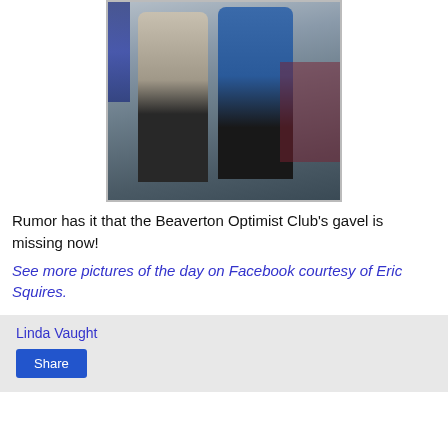[Figure (photo): Two men standing indoors, one in a grey polo shirt and one in a blue shirt, appearing to hold a gavel, with a flag visible on the left and a maroon wall in the background.]
Rumor has it that the Beaverton Optimist Club's gavel is missing now!
See more pictures of the day on Facebook courtesy of Eric Squires.
Linda Vaught
Share